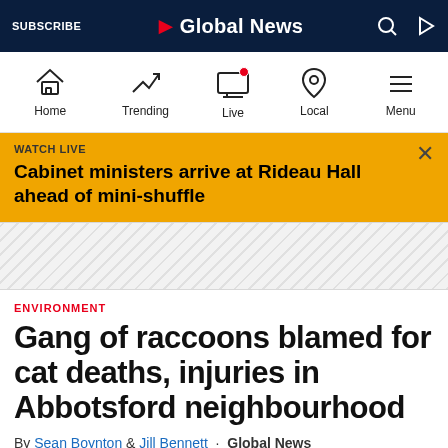SUBSCRIBE | Global News
[Figure (screenshot): Global News navigation bar with Home, Trending, Live, Local, Menu icons]
WATCH LIVE
Cabinet ministers arrive at Rideau Hall ahead of mini-shuffle
[Figure (other): Advertisement/divider stripe area]
ENVIRONMENT
Gang of raccoons blamed for cat deaths, injuries in Abbotsford neighbourhood
By Sean Boynton & Jill Bennett · Global News
Posted July 14, 2018 9:12 pm